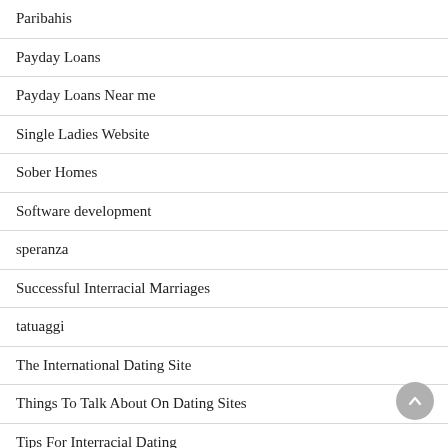Paribahis
Payday Loans
Payday Loans Near me
Single Ladies Website
Sober Homes
Software development
speranza
Successful Interracial Marriages
tatuaggi
The International Dating Site
Things To Talk About On Dating Sites
Tips For Interracial Dating